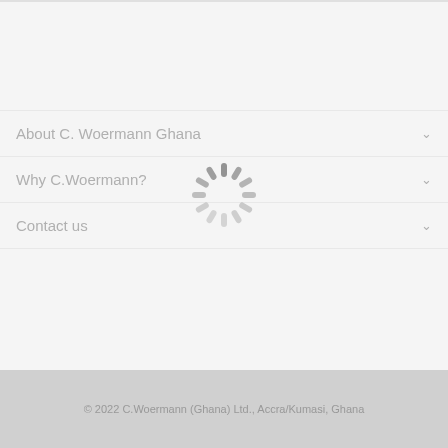About C. Woermann Ghana
Why C.Woermann?
Contact us
[Figure (other): Loading spinner / activity indicator — a circular arrangement of grey radial dashes forming a loading animation icon]
© 2022 C.Woermann (Ghana) Ltd., Accra/Kumasi, Ghana